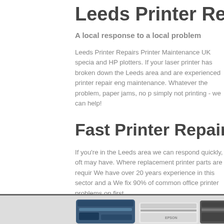Leeds Printer Repairs
A local response to a local problem
Leeds Printer Repairs Printer Maintenance UK specia and HP plotters. If your laser printer has broken down the Leeds area and are experienced printer repair eng maintenance. Whatever the problem, paper jams, no p simply not printing - we can help!
Fast Printer Repairs in Le
If you're in the Leeds area we can respond quickly, oft may have. Where replacement printer parts are requir We have over 20 years experience in this sector and a We fix 90% of common office printer problems on first
[Figure (photo): Three printers shown side by side: a blue/dark Xerox-like laser printer on the left, a white Epson printer in the middle, and a darker printer on the right, partially cut off.]